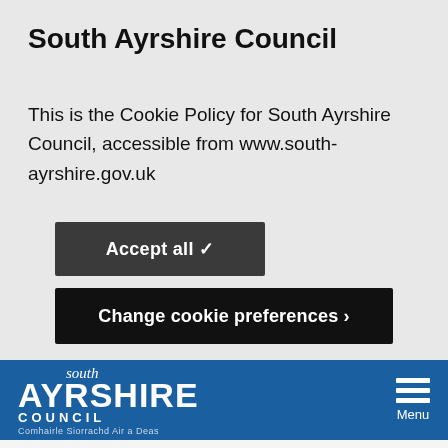South Ayrshire Council
This is the Cookie Policy for South Ayrshire Council, accessible from www.south-ayrshire.gov.uk
[Figure (screenshot): Dark grey button labeled 'Accept all' with a checkmark icon]
[Figure (screenshot): Black button labeled 'Change cookie preferences' with a right arrow chevron]
[Figure (logo): South Ayrshire Council logo on blue navigation bar with hamburger menu and 'Menu' label on the right]
< School meals